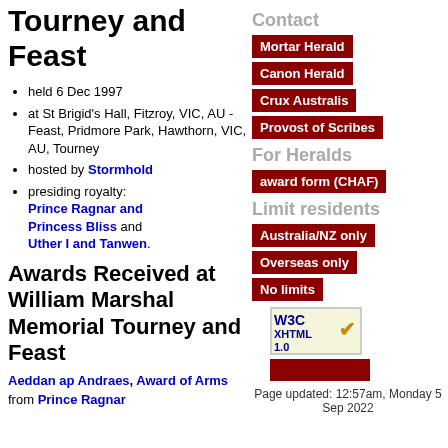Tourney and Feast
held 6 Dec 1997
at St Brigid's Hall, Fitzroy, VIC, AU - Feast, Pridmore Park, Hawthorn, VIC, AU, Tourney
hosted by Stormhold
presiding royalty: Prince Ragnar and Princess Bliss and Uther I and Tanwen.
Contact
Mortar Herald
Canon Herald
Crux Australis
Provost of Scribes
For Heralds
award form (CHAF)
Limit residents
Australia/NZ only
Overseas only
No limits
[Figure (logo): W3C XHTML 1.0 validation badge]
[Figure (other): Red bar/badge element]
Page updated: 12:57am, Monday 5 Sep 2022
Awards Received at William Marshal Memorial Tourney and Feast
Aeddan ap Andraes, Award of Arms from Prince Ragnar